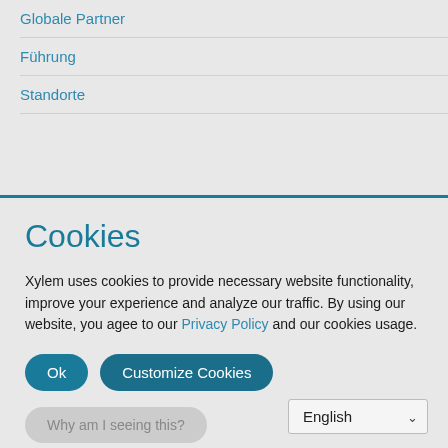Globale Partner
Führung
Standorte
Cookies
Xylem uses cookies to provide necessary website functionality, improve your experience and analyze our traffic. By using our website, you agee to our Privacy Policy and our cookies usage.
Ok
Customize Cookies
Why am I seeing this?
English